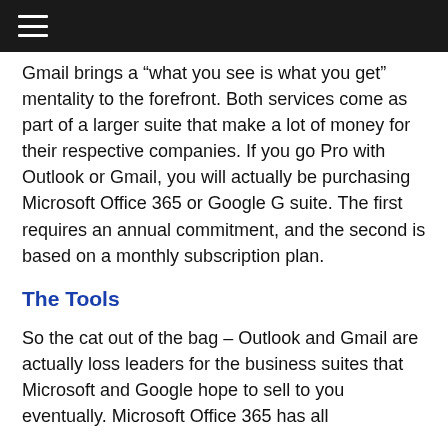[hamburger menu icon]
Outlook is all about add-on features while Gmail brings a “what you see is what you get” mentality to the forefront. Both services come as part of a larger suite that make a lot of money for their respective companies. If you go Pro with Outlook or Gmail, you will actually be purchasing Microsoft Office 365 or Google G suite. The first requires an annual commitment, and the second is based on a monthly subscription plan.
The Tools
So the cat out of the bag – Outlook and Gmail are actually loss leaders for the business suites that Microsoft and Google hope to sell to you eventually. Microsoft Office 365 has all